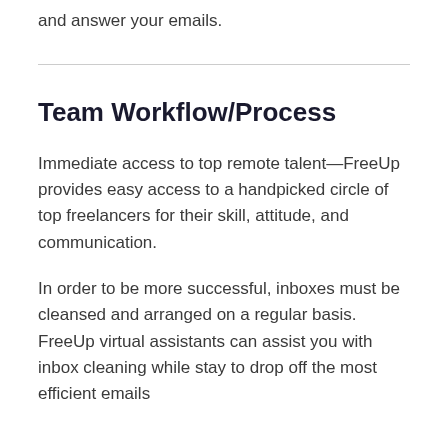and answer your emails.
Team Workflow/Process
Immediate access to top remote talent—FreeUp provides easy access to a handpicked circle of top freelancers for their skill, attitude, and communication.
In order to be more successful, inboxes must be cleansed and arranged on a regular basis. FreeUp virtual assistants can assist you with inbox cleaning while stay to drop off the most efficient emails